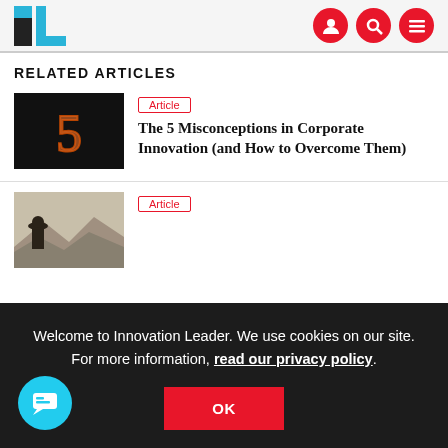Innovation Leader logo and navigation icons
RELATED ARTICLES
[Figure (photo): Dark background with glowing orange number 5]
Article
The 5 Misconceptions in Corporate Innovation (and How to Overcome Them)
[Figure (photo): Person wearing a hat in a desert landscape]
Article
Welcome to Innovation Leader. We use cookies on our site. For more information, read our privacy policy.
OK